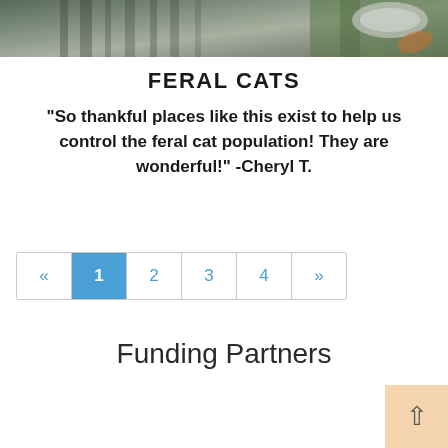[Figure (photo): Close-up photo of a feral cat (tabby/grey striped) outdoors on grass, partially cropped at top of page]
FERAL CATS
"So thankful places like this exist to help us control the feral cat population! They are wonderful!" -Cheryl T.
[Figure (other): Pagination control showing page buttons: « 1 2 3 4 »  with page 1 highlighted in blue]
Funding Partners